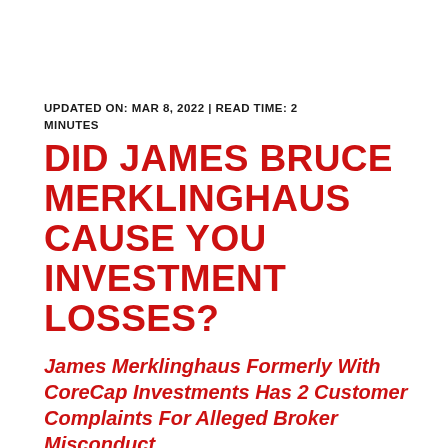UPDATED ON: MAR 8, 2022 | READ TIME: 2 MINUTES
DID JAMES BRUCE MERKLINGHAUS CAUSE YOU INVESTMENT LOSSES?
James Merklinghaus Formerly With CoreCap Investments Has 2 Customer Complaints For Alleged Broker Misconduct
Who is James Merklinghaus formerly with CoreCap